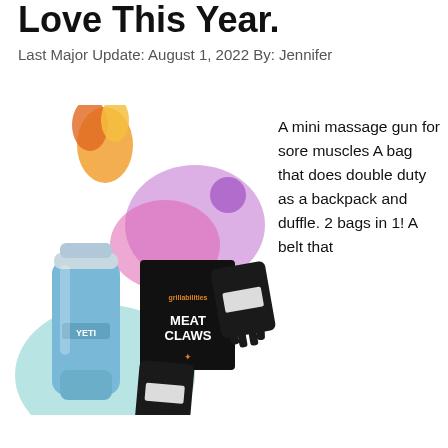Love This Year.
Last Major Update: August 1, 2022 By: Jennifer
[Figure (photo): Photo collage showing a blue YETI tumbler cup, a box of Grillabilities Meat Claws with the bear-claw meat shredders, set against colorful blob/paint-splash shapes in pink, purple, orange, and teal.]
A mini massage gun for sore muscles A bag that does double duty as a backpack and duffle. 2 bags in 1! A belt that handles full golf swings out on the course A portable, waterproof bluetooth speaker for top quality tunes on